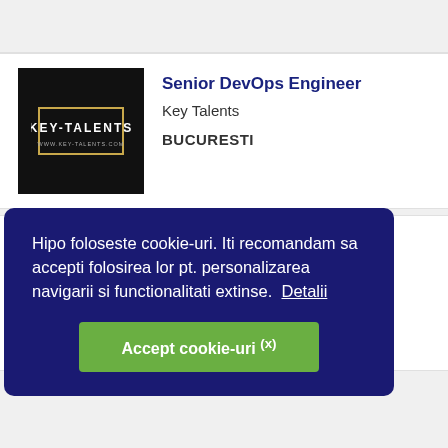[Figure (logo): Key Talents company logo - black background with gold border rectangle and white text KEY-TALENTS WWW.KEY-TALENTS.COM]
Senior DevOps Engineer
Key Talents
BUCURESTI
[Figure (logo): Key Talents company logo - black background with gold border rectangle and white text KEY-TALENTS WWW.KEY-TALENTS.COM]
Senior Java Developer
Key Talents
BUCURESTI
Hipo foloseste cookie-uri. Iti recomandam sa accepti folosirea lor pt. personalizarea navigarii si functionalitati extinse. Detalii
Accept cookie-uri (x)